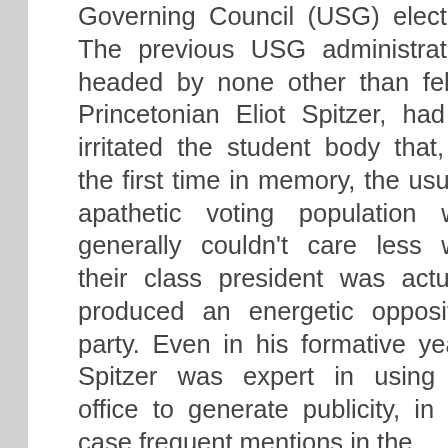Governing Council (USG) election. The previous USG administration, headed by none other than fellow Princetonian Eliot Spitzer, had so irritated the student body that, for the first time in memory, the usually apathetic voting population who generally couldn't care less who their class president was actually produced an energetic opposition party. Even in his formative years, Spitzer was expert in using his office to generate publicity, in this case frequent mentions in the